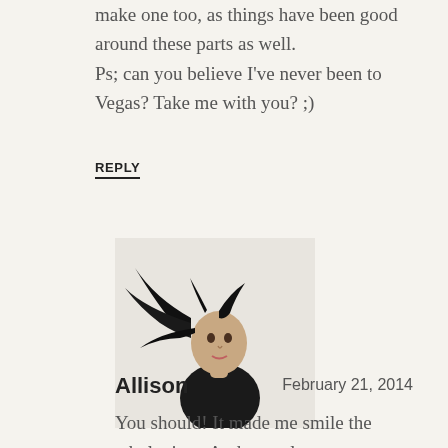What a perfect little list of happy. I should make one too, as things have been good around these parts as well.
Ps; can you believe I've never been to Vegas? Take me with you? ;)
REPLY
[Figure (photo): Profile photo of a woman with dark hair flying, white background]
Allison
February 21, 2014
You should! It made me smile the whole time. And yes, please meet me in Vegas. I just told Vanessa the same thing!